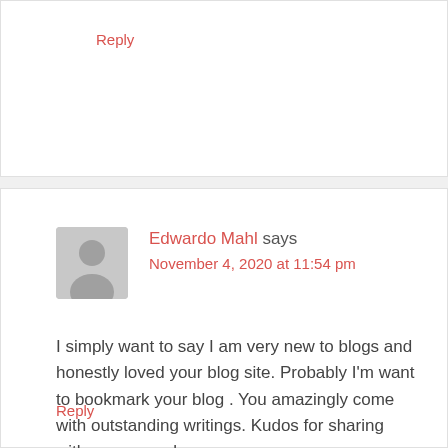Reply
Edwardo Mahl says
November 4, 2020 at 11:54 pm
I simply want to say I am very new to blogs and honestly loved your blog site. Probably I'm want to bookmark your blog . You amazingly come with outstanding writings. Kudos for sharing with us your web page.
Reply